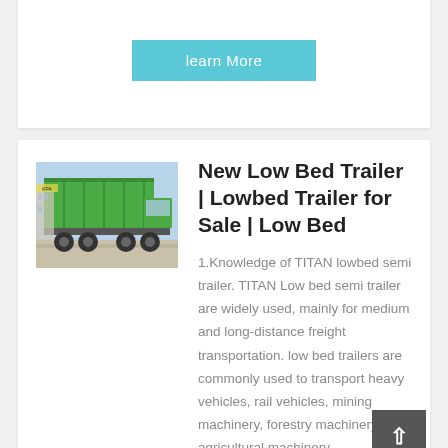[Figure (other): Cyan/teal 'learn More' button]
[Figure (photo): Green dump truck / semi trailer photographed from the rear-side, parked on a road with blue sky background]
New Low Bed Trailer | Lowbed Trailer for Sale | Low Bed
1.Knowledge of TITAN lowbed semi trailer. TITAN Low bed semi trailer are widely used, mainly for medium and long-distance freight transportation. low bed trailers are commonly used to transport heavy vehicles, rail vehicles, mining machinery, forestry machinery, agricultural machinery,